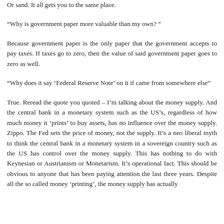Or sand. It all gets you to the same place.
"Why is government paper more valuable than my own? "
Because government paper is the only paper that the government accepts to pay taxes. If taxes go to zero, then the value of said government paper goes to zero as well.
"Why does it say 'Federal Reserve Note' on it if came from somewhere else"
True. Reread the quote you quoted – I'm talking about the money supply. And the central bank in a monetary system such as the US's, regardless of how much money it 'prints' to buy assets, has no influence over the money supply. Zippo. The Fed sets the price of money, not the supply. It's a neo liberal myth to think the central bank in a monetary system in a sovereign country such as the US has control over the money supply. This has nothing to do with Keynesian or Austrianism or Monetarism. It's operational fact. This should be obvious to anyone that has been paying attention the last three years. Despite all the so called money 'printing', the money supply has actually